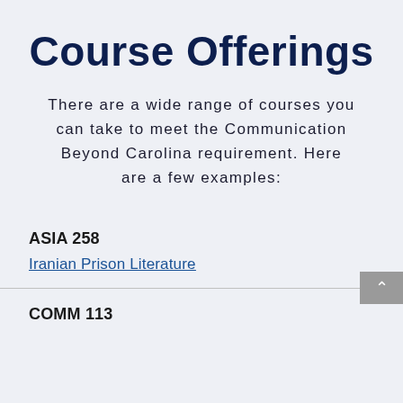Course Offerings
There are a wide range of courses you can take to meet the Communication Beyond Carolina requirement. Here are a few examples:
ASIA 258
Iranian Prison Literature
COMM 113